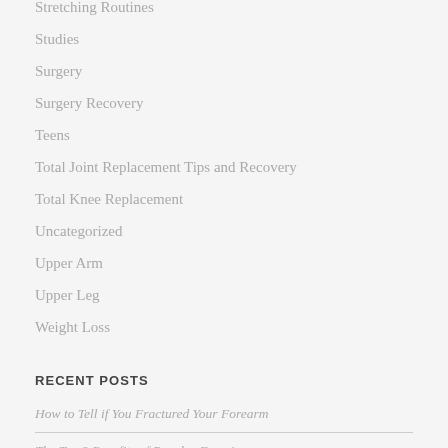Stretching Routines
Studies
Surgery
Surgery Recovery
Teens
Total Joint Replacement Tips and Recovery
Total Knee Replacement
Uncategorized
Upper Arm
Upper Leg
Weight Loss
RECENT POSTS
How to Tell if You Fractured Your Forearm
The Top 9 Benefits of Regular Exercise